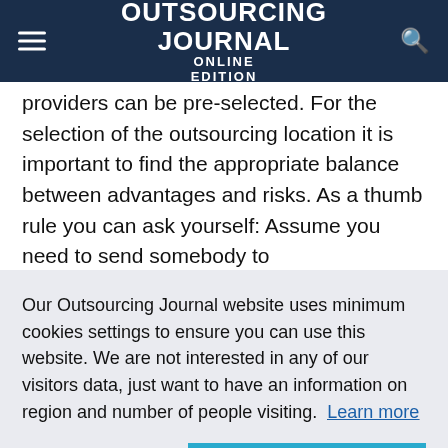OUTSOURCING JOURNAL ONLINE EDITION
providers can be pre-selected. For the selection of the outsourcing location it is important to find the appropriate balance between advantages and risks. As a thumb rule you can ask yourself: Assume you need to send somebody to
Our Outsourcing Journal website uses minimum cookies settings to ensure you can use this website. We are not interested in any of our visitors data, just want to have an information on region and number of people visiting. Learn more
experience from the own outsourcing projects and even the